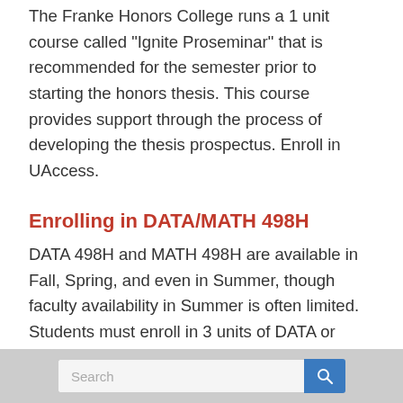The Franke Honors College runs a 1 unit course called "Ignite Proseminar" that is recommended for the semester prior to starting the honors thesis. This course provides support through the process of developing the thesis prospectus. Enroll in UAccess.
Enrolling in DATA/MATH 498H
DATA 498H and MATH 498H are available in Fall, Spring, and even in Summer, though faculty availability in Summer is often limited. Students must enroll in 3 units of DATA or MATH 498H for two distinct semesters (6 units total) to qualify for honors. To enroll in DATA/MATH 498H, submit the independent study proposal form from the Math Academic Office; once you have completed the form